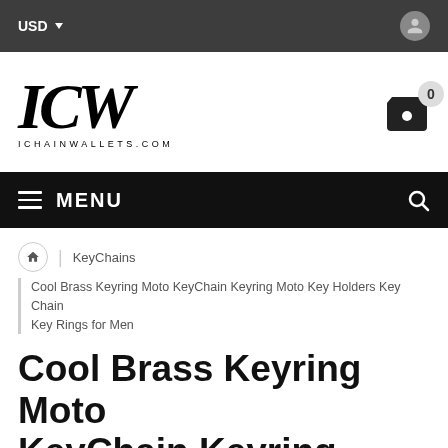USD
[Figure (logo): ICW gothic blackletter logo with text ICHAINWALLETS.COM beneath]
MENU
KeyChains
Cool Brass Keyring Moto KeyChain Keyring Moto Key Holders Key Chain Key Rings for Men
Cool Brass Keyring Moto KeyChain Keyring Moto Key